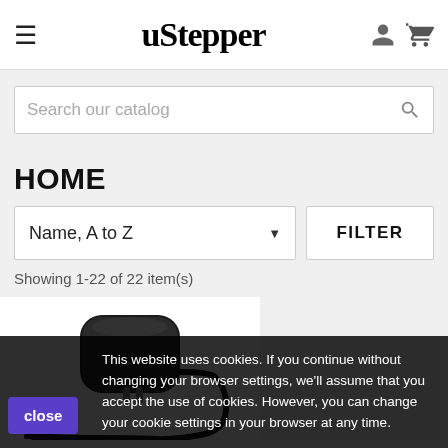uStepper
Search our catalog
HOME
Name, A to Z
FILTER
Showing 1-22 of 22 item(s)
[Figure (photo): Black power adapter/charger with cable on white background]
This website uses cookies. If you continue without changing your browser settings, we'll assume that you accept the use of cookies. However, you can change your cookie settings in your browser at any time.
close